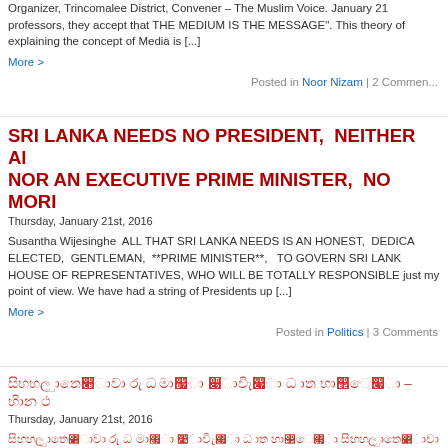Organizer, Trincomalee District, Convener – The Muslim Voice. January 21 professors, they accept that THE MEDIUM IS THE MESSAGE". This theory of explaining the concept of Media is [...]
More >
Posted in Noor Nizam | 2 Comments
SRI LANKA NEEDS NO PRESIDENT,  NEITHER AN EXECUTIVE PM NOR AN EXECUTIVE PRIME MINISTER,  NO MORE
Thursday, January 21st, 2016
Susantha Wijesinghe  ALL THAT SRI LANKA NEEDS IS AN HONEST,  DEDICATED ELECTED,  GENTLEMAN,  **PRIME MINISTER**,   TO GOVERN SRI LANKA HOUSE OF REPRESENTATIVES, WHO WILL BE TOTALLY RESPONSIBLE just my point of view. We have had a string of Presidents up [...]
More >
Posted in Politics | 3 Comments
සිංහල මාතෘකාව
Thursday, January 21st, 2016
සිංහල 본문 text...